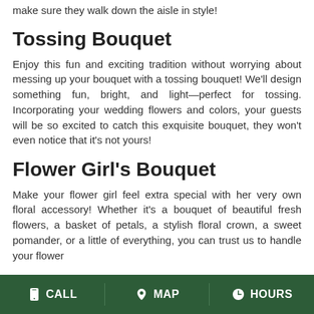make sure they walk down the aisle in style!
Tossing Bouquet
Enjoy this fun and exciting tradition without worrying about messing up your bouquet with a tossing bouquet! We'll design something fun, bright, and light—perfect for tossing. Incorporating your wedding flowers and colors, your guests will be so excited to catch this exquisite bouquet, they won't even notice that it's not yours!
Flower Girl's Bouquet
Make your flower girl feel extra special with her very own floral accessory! Whether it's a bouquet of beautiful fresh flowers, a basket of petals, a stylish floral crown, a sweet pomander, or a little of everything, you can trust us to handle your flower
CALL   MAP   HOURS